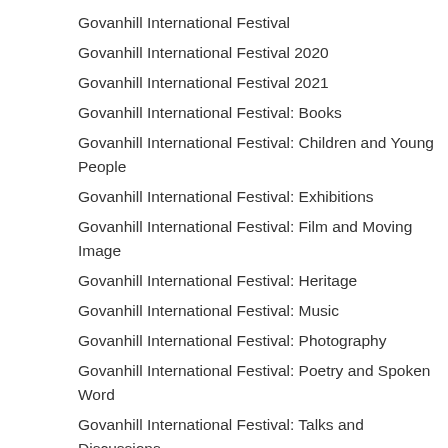Govanhill International Festival
Govanhill International Festival 2020
Govanhill International Festival 2021
Govanhill International Festival: Books
Govanhill International Festival: Children and Young People
Govanhill International Festival: Exhibitions
Govanhill International Festival: Film and Moving Image
Govanhill International Festival: Heritage
Govanhill International Festival: Music
Govanhill International Festival: Photography
Govanhill International Festival: Poetry and Spoken Word
Govanhill International Festival: Talks and Discussions
Govanhill International Festival: Temp Music
Govanhill International Festival: Temporary Music
Govanhill People's Pantry